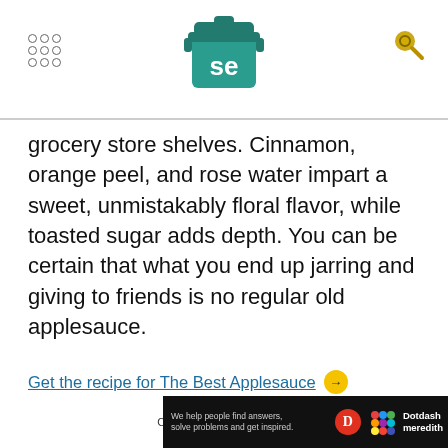Serious Eats header with logo
grocery store shelves. Cinnamon, orange peel, and rose water impart a sweet, unmistakably floral flavor, while toasted sugar adds depth. You can be certain that what you end up jarring and giving to friends is no regular old applesauce.
Get the recipe for The Best Applesauce →
Continue to 17 of 20 below.
Advertisement
[Figure (screenshot): Advertisement banner: dark background with red bokeh circles, bold white text 'We help people find answers,' and a bottom bar with Dotdash Meredith branding, red D icon, and colorful dots logo. Small text: 'We help people find answers, solve problems and get inspired.']